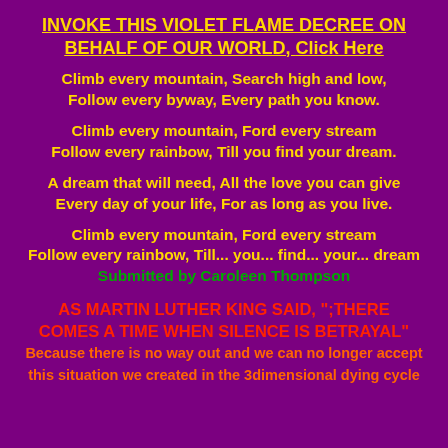INVOKE THIS VIOLET FLAME DECREE ON BEHALF OF OUR WORLD, Click Here
Climb every mountain, Search high and low,
Follow every byway, Every path you know.
Climb every mountain, Ford every stream
Follow every rainbow, Till you find your dream.
A dream that will need, All the love you can give
Every day of your life, For as long as you live.
Climb every mountain, Ford every stream
Follow every rainbow, Till... you... find... your... dream
Submitted by Caroleen Thompson
AS MARTIN LUTHER KING SAID, ";THERE COMES A TIME WHEN SILENCE IS BETRAYAL" Because there is no way out and we can no longer accept this situation we created in the 3dimensional dying cycle